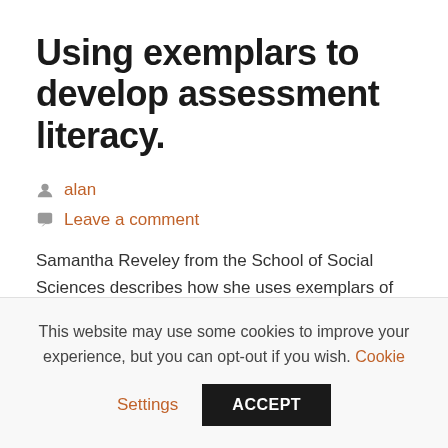Using exemplars to develop assessment literacy.
alan
Leave a comment
Samantha Reveley from the School of Social Sciences describes how she uses exemplars of work to develop students' assessment literacy.
This website may use some cookies to improve your experience, but you can opt-out if you wish. Cookie Settings ACCEPT